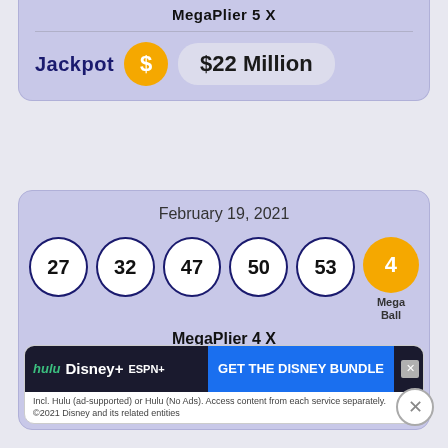MegaPlier 5 X
Jackpot  $22 Million
February 19, 2021
27  32  47  50  53  4 (Mega Ball)
MegaPlier 4 X
Jackpot  $20 Million
[Figure (screenshot): Hulu Disney+ ESPN+ GET THE DISNEY BUNDLE ad banner. Text: Incl. Hulu (ad-supported) or Hulu (No Ads). Access content from each service separately. ©2021 Disney and its related entities]